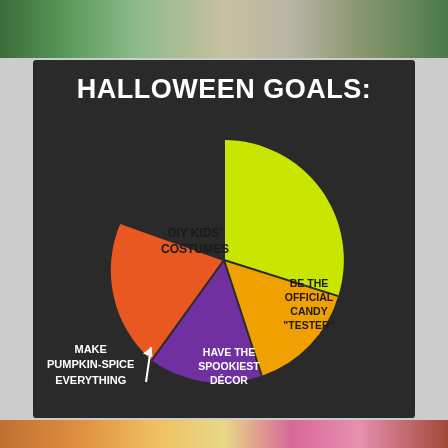[Figure (photo): Top photo strip showing pillows/bedding with greenery]
[Figure (pie-chart): HALLOWEEN GOALS:]
[Figure (photo): Bottom photo strip showing colorful items]